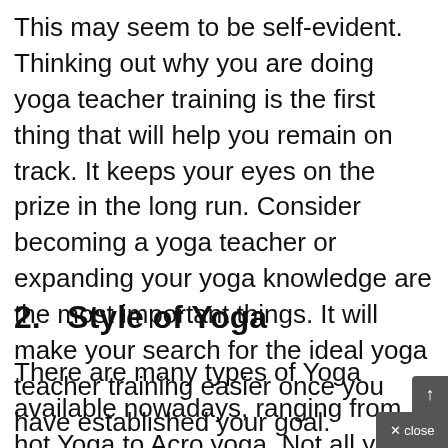This may seem to be self-evident. Thinking out why you are doing yoga teacher training is the first thing that will help you remain on track. It keeps your eyes on the prize in the long run. Consider becoming a yoga teacher or expanding your yoga knowledge are the most important things. It will make your search for the ideal yoga teacher training easier once you have established your goal.
2.   Style of Yoga
There are many types of Yoga available nowadays, ranging from hot Yoga to Acro yoga. Not all yoga techniques are appropriate for you. Ashtanga, Power and Vin...